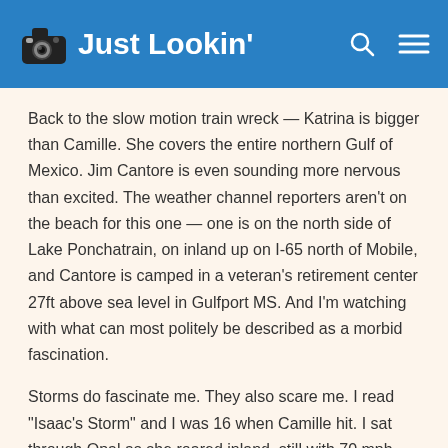Just Lookin'
Back to the slow motion train wreck — Katrina is bigger than Camille. She covers the entire northern Gulf of Mexico. Jim Cantore is even sounding more nervous than excited. The weather channel reporters aren't on the beach for this one — one is on the north side of Lake Ponchatrain, on inland up on I-65 north of Mobile, and Cantore is camped in a veteran's retirement center 27ft above sea level in Gulfport MS. And I'm watching with what can most politely be described as a morbid fascination.
Storms do fascinate me. They also scare me. I read "Isaac's Storm" and I was 16 when Camille hit. I sat through Opal as she roared inland, still with 70 mph winds as she roared over us sitting here nearly 200 miles inland. The five of us (JP and me and the kids)